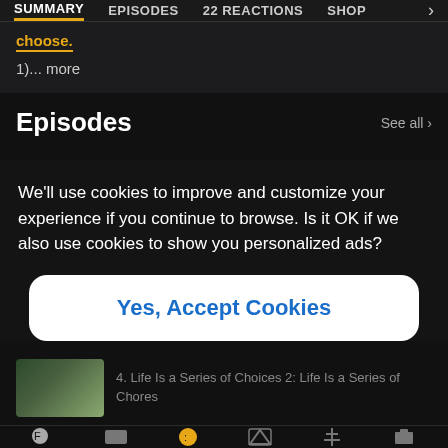SUMMARY  EPISODES  22 REACTIONS  SHOP  >
choose.
1)... more
Episodes
See all >
We'll use cookies to improve and customize your experience if you continue to browse. Is it OK if we also use cookies to show you personalized ads?
Yes, Accept Cookies
4. Life Is a Series of Choices 2: Life Is a Series of Chores